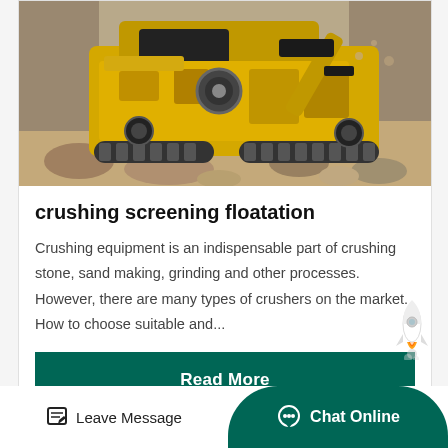[Figure (photo): Large yellow mobile rock crushing / screening machine on a construction or quarrying site, surrounded by rubble and dirt. The machine has caterpillar tracks and a yellow body with a conveyor belt.]
crushing screening floatation
Crushing equipment is an indispensable part of crushing stone, sand making, grinding and other processes. However, there are many types of crushers on the market. How to choose suitable and...
Read More
Leave Message
Chat Online